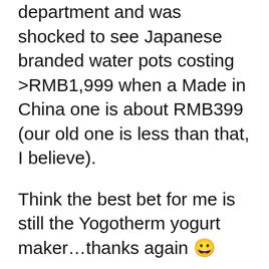department and was shocked to see Japanese branded water pots costing >RMB1,999 when a Made in China one is about RMB399 (our old one is less than that, I believe).
Think the best bet for me is still the Yogotherm yogurt maker…thanks again 😀
Shooi   Link
Hi dear, I don't think it is Japanese. The brand stems from illi with the ot AS